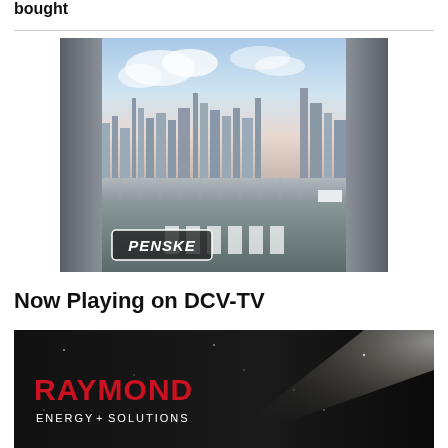bought
[Figure (photo): Penske advertisement showing a city skyline with a road in the foreground and the Penske logo in the lower left corner]
Now Playing on DCV-TV
[Figure (photo): Raymond Energy + Solutions advertisement with a dark background, the Raymond logo in red and white on the lower left, and a light beam on the right side]